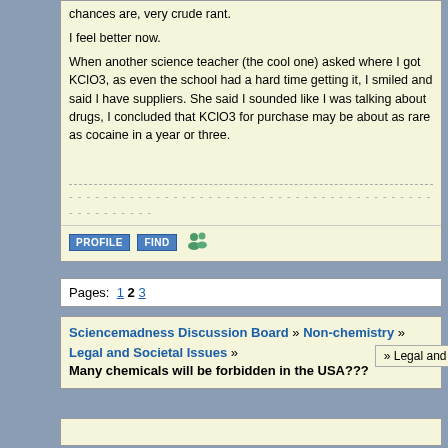chances are, very crude rant.

I feel better now.

When another science teacher (the cool one) asked where I got KClO3, as even the school had a hard time getting it, I smiled and said I have suppliers. She said I sounded like I was talking about drugs, I concluded that KClO3 for purchase may be about as rare as cocaine in a year or three.
Pages: 1 2 3
Sciencemadness Discussion Board » Non-chemistry » Legal and Societal Issues » Many chemicals will be forbidden in the USA???
» Legal and Societal Issues